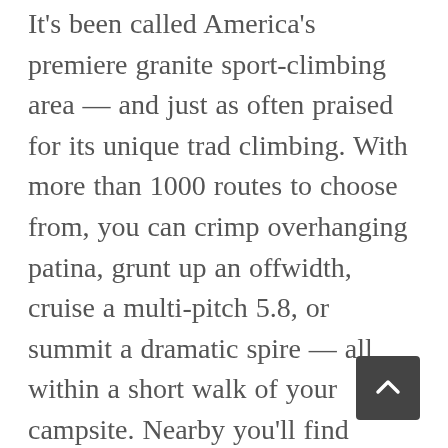It's been called America's premiere granite sport-climbing area — and just as often praised for its unique trad climbing. With more than 1000 routes to choose from, you can crimp overhanging patina, grunt up an offwidth, cruise a multi-pitch 5.8, or summit a dramatic spire — all within a short walk of your campsite. Nearby you'll find historic inscriptions, hikes, mountain biking, and the funky Western town of Almo to keep you supplied and entertained on rest days. Also included here for the first time is the sweet climbing at nearby Castle Rocks State Park. With a different, quieter vibe than the roadside crags in the